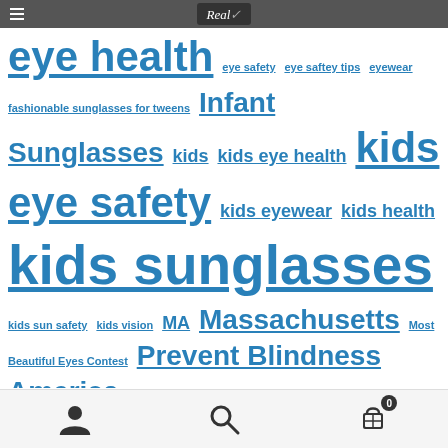Real Kids Shades logo header with hamburger menu
eye health  eye safety  eye saftey tips  eyewear  fashionable sunglasses for tweens  Infant Sunglasses  kids  kids eye health  kids eye safety  kids eyewear  kids health  kids sunglasses  kids sun safety  kids vision  MA  Massachusetts  Most Beautiful Eyes Contest  Prevent Blindness America  protective eyewear  quality childrens sunglasses  Real Kids Shades  sports eye safety  sports sunglasses  spring sports eye safety  Star Pupils  sunglasses  sunglasses for boys
Navigation footer with user, search, and cart icons